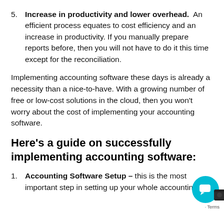5. Increase in productivity and lower overhead. An efficient process equates to cost efficiency and an increase in productivity. If you manually prepare reports before, then you will not have to do it this time except for the reconciliation.
Implementing accounting software these days is already a necessity than a nice-to-have. With a growing number of free or low-cost solutions in the cloud, then you won't worry about the cost of implementing your accounting software.
Here's a guide on successfully implementing accounting software:
1. Accounting Software Setup – this is the most important step in setting up your whole accounting